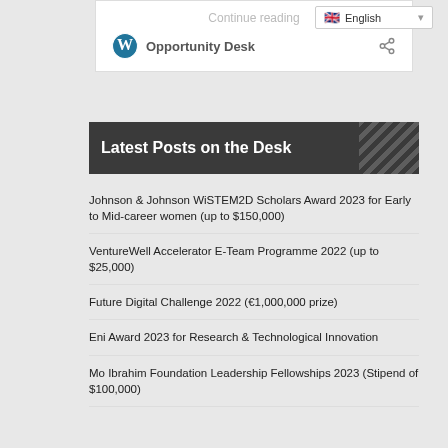Continue reading
🇬🇧 English
Opportunity Desk
Latest Posts on the Desk
Johnson & Johnson WiSTEM2D Scholars Award 2023 for Early to Mid-career women (up to $150,000)
VentureWell Accelerator E-Team Programme 2022 (up to $25,000)
Future Digital Challenge 2022 (€1,000,000 prize)
Eni Award 2023 for Research & Technological Innovation
Mo Ibrahim Foundation Leadership Fellowships 2023 (Stipend of $100,000)